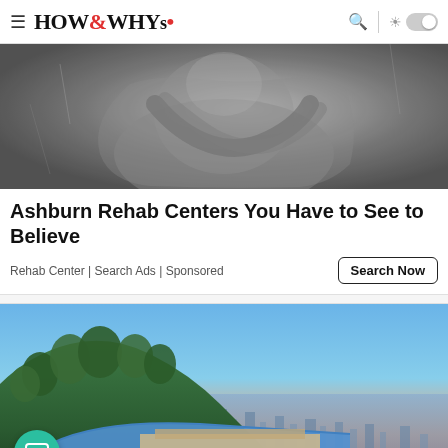HOW&WHYs
[Figure (photo): Black and white photo of a person hugging their knees, distressed pose]
Ashburn Rehab Centers You Have to See to Believe
Rehab Center | Search Ads | Sponsored
Search Now
[Figure (photo): Color aerial/landscape photo of a luxury property on a hillside overlooking a city at dusk, with a blue canopy structure and pool]